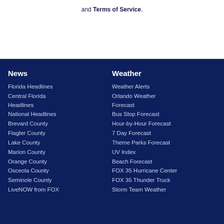and Terms of Service.
News
Florida Headlines
Central Florida Headlines
National Headlines
Brevard County
Flagler County
Lake County
Marion County
Orange County
Osceola County
Seminole County
LiveNOW from FOX
Weather
Weather Alerts
Orlando Weather Forecast
Bus Stop Forecast
Hour-by-Hour Forecast
7 Day Forecast
Theme Parks Forecast
UV Index
Beach Forecast
FOX 35 Hurricane Center
FOX 35 Thunder Truck
Storm Team Weather